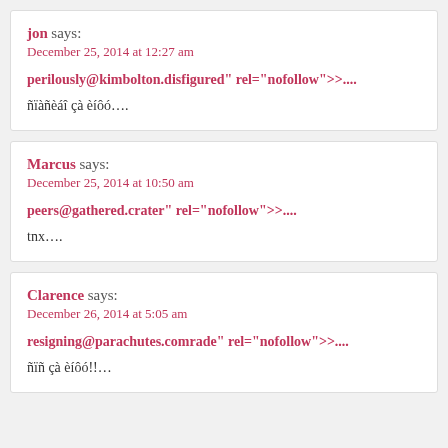jon says:
December 25, 2014 at 12:27 am
perilously@kimbolton.disfigured" rel="nofollow">....
ñïàñèáî çà èíôó….
Marcus says:
December 25, 2014 at 10:50 am
peers@gathered.crater" rel="nofollow">....
tnx….
Clarence says:
December 26, 2014 at 5:05 am
resigning@parachutes.comrade" rel="nofollow">....
ñïñ çà èíôó!!…